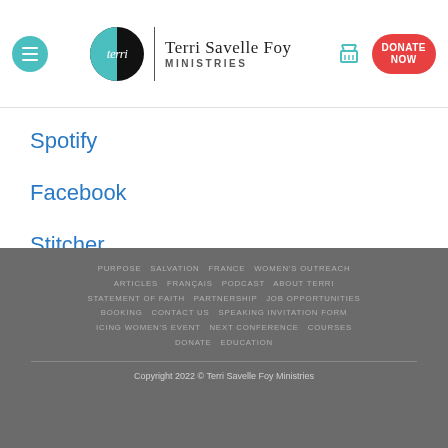Terri Savelle Foy Ministries — navigation header with menu, logo, cart, and DONATE NOW button
Spotify
Facebook
Stitcher
PURPOSE  SALVATION  FRANCE  WOMEN'S OUTREACH  ARTICLES  FRANÇAIS  PODCAST  ABOUT TERRI  STATEMENT OF FAITH  PARTNERSHIP  JOB OPPORTUNITIES  BOOKING  CONTACT US  SPEAKING INVITATION FORM  ICING WOMEN'S EVENT  NEXT CONFERENCE  COURSES  DONATE  EDUCATION
Copyright 2022 © Terri Savelle Foy Ministries